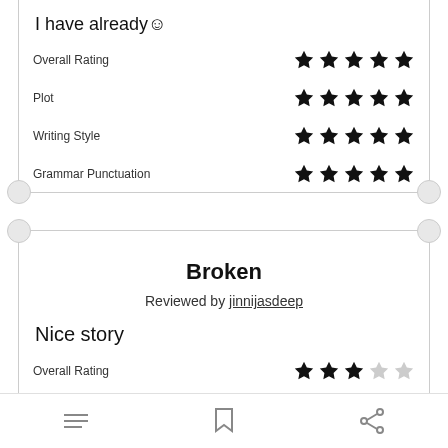I have already☺
Overall Rating ★★★★★
Plot ★★★★★
Writing Style ★★★★★
Grammar Punctuation ★★★★★
Broken
Reviewed by jinnijasdeep
Nice story
Overall Rating ★★★☆☆
Plot ★★★☆☆
Writing Style ★★★☆☆